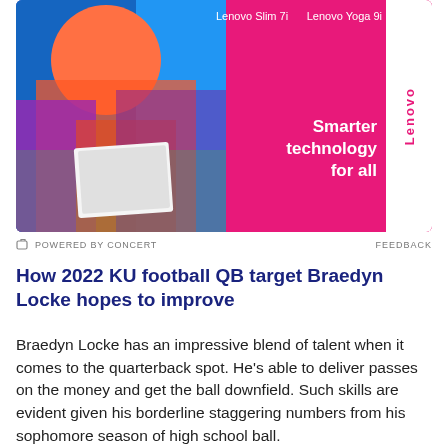[Figure (photo): Lenovo advertisement banner with pink background showing a person holding a white laptop, with product labels 'Lenovo Slim 7i' and 'Lenovo Yoga 9i', slogan 'Smarter technology for all', and Lenovo logo badge on right side.]
POWERED BY CONCERT   FEEDBACK
How 2022 KU football QB target Braedyn Locke hopes to improve
Braedyn Locke has an impressive blend of talent when it comes to the quarterback spot. He's able to deliver passes on the money and get the ball downfield. Such skills are evident given his borderline staggering numbers from his sophomore season of high school ball.